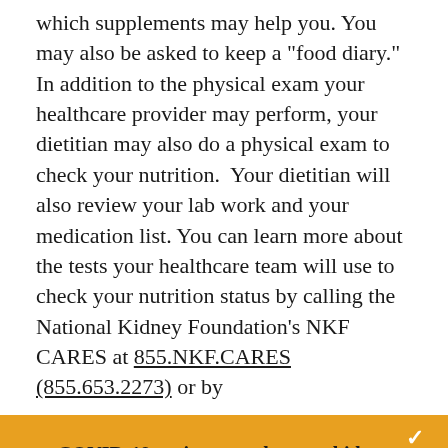which supplements may help you. You may also be asked to keep a "food diary." In addition to the physical exam your healthcare provider may perform, your dietitian may also do a physical exam to check your nutrition.  Your dietitian will also review your lab work and your medication list. You can learn more about the tests your healthcare team will use to check your nutrition status by calling the National Kidney Foundation's NKF CARES at 855.NKF.CARES (855.653.2273) or by
[Figure (other): Orange banner with COVID-19 kidney donation call-to-action. Contains text: 'COVID-19 patients can become kidney patients. You can provide lifesaving support today with a special monthly gift.' and a 'Donate Now' button. A white chevron/down-arrow icon appears in the top right corner.]